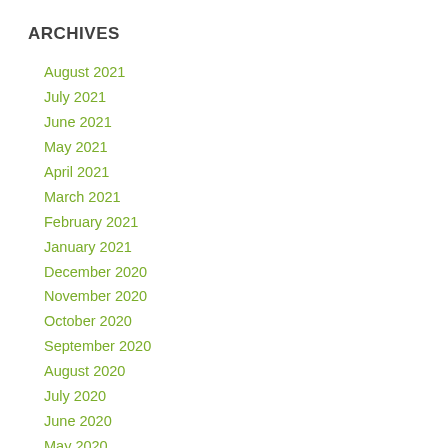ARCHIVES
August 2021
July 2021
June 2021
May 2021
April 2021
March 2021
February 2021
January 2021
December 2020
November 2020
October 2020
September 2020
August 2020
July 2020
June 2020
May 2020
April 2020
March 2020